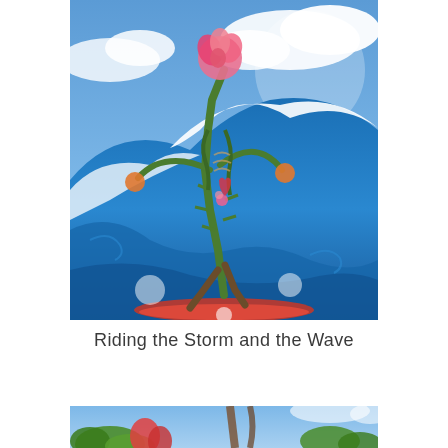[Figure (illustration): Colorful surrealist illustration of a humanoid figure made of thorny vines, flowers, and a large pink rose for a head, surfing on a cresting ocean wave against a blue sky with clouds. The figure rides a red surfboard through white foam and swirling blue water.]
Riding the Storm and the Wave
[Figure (illustration): Partial view of another colorful illustration showing foliage and figures at the bottom of the page, cropped.]